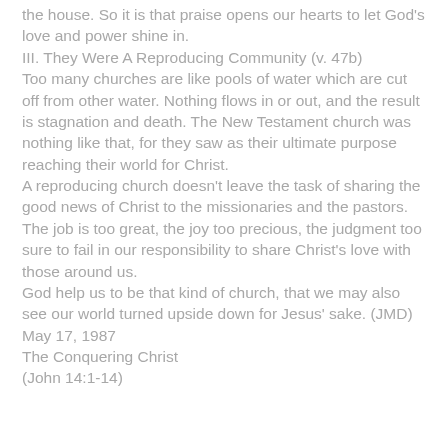the house. So it is that praise opens our hearts to let God's love and power shine in.
III. They Were A Reproducing Community (v. 47b)
Too many churches are like pools of water which are cut off from other water. Nothing flows in or out, and the result is stagnation and death. The New Testament church was nothing like that, for they saw as their ultimate purpose reaching their world for Christ.
A reproducing church doesn't leave the task of sharing the good news of Christ to the missionaries and the pastors. The job is too great, the joy too precious, the judgment too sure to fail in our responsibility to share Christ's love with those around us.
God help us to be that kind of church, that we may also see our world turned upside down for Jesus' sake. (JMD)
May 17, 1987
The Conquering Christ
(John 14:1-14)